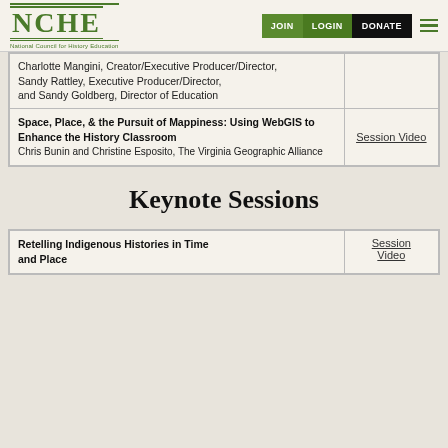NCHE — National Council for History Education | JOIN | LOGIN | DONATE
| Session | Link |
| --- | --- |
| Charlotte Mangini, Creator/Executive Producer/Director, Sandy Rattley, Executive Producer/Director, and Sandy Goldberg, Director of Education |  |
| Space, Place, & the Pursuit of Mappiness: Using WebGIS to Enhance the History Classroom
Chris Bunin and Christine Esposito, The Virginia Geographic Alliance | Session Video |
Keynote Sessions
| Session | Link |
| --- | --- |
| Retelling Indigenous Histories in Time and Place | Session Video |